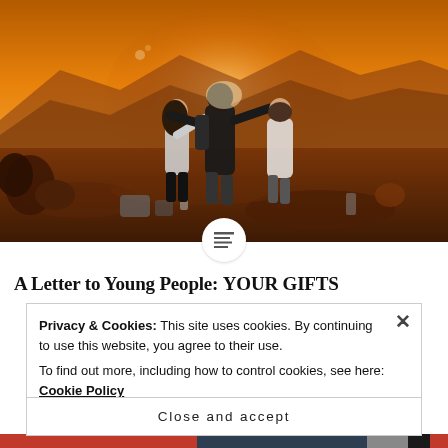[Figure (photo): Three young people standing on a hillside at sunset with warm golden light, mountains in background, backpacks and gear on the ground beside them]
A Letter to Young People: YOUR GIFTS
Privacy & Cookies: This site uses cookies. By continuing to use this website, you agree to their use.
To find out more, including how to control cookies, see here: Cookie Policy
Close and accept